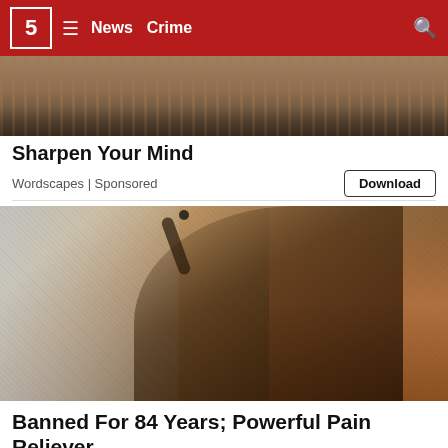5 News Crime
[Figure (photo): Top portion of a person visible at the top of the page, partially cropped]
Sharpen Your Mind
Wordscapes | Sponsored
[Figure (photo): A woman tilting her head back using a dropper to place liquid into her mouth]
Banned For 84 Years; Powerful Pain Reliever Ingredient Missing...